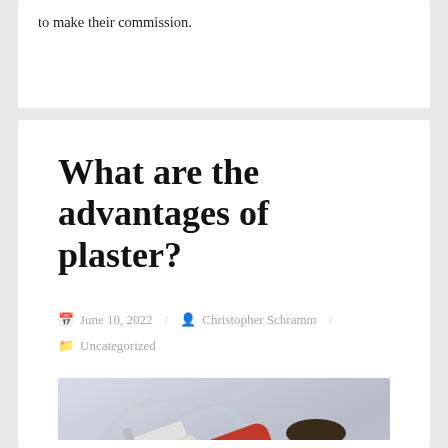to make their commission.
What are the advantages of plaster?
June 10, 2022 / Christopher Schramm / Uncategorized
[Figure (photo): A person in a red shirt applying plaster to a wall with a trowel, wearing a glove. The wall shows a textured white/grey plaster surface being smoothed.]